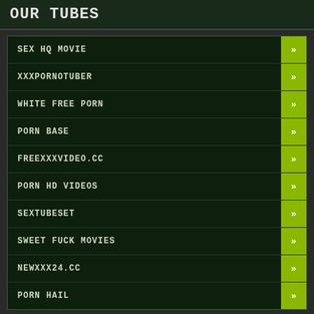OUR TUBES
SEX HQ MOVIE
XXXPORNOTUBER
WHITE FREE PORN
PORN BASE
FREEXXXVIDEO.CC
PORN HD VIDEOS
SEXTUBESET
SWEET FUCK MOVIES
NEWXXX24.CC
PORN HAIL